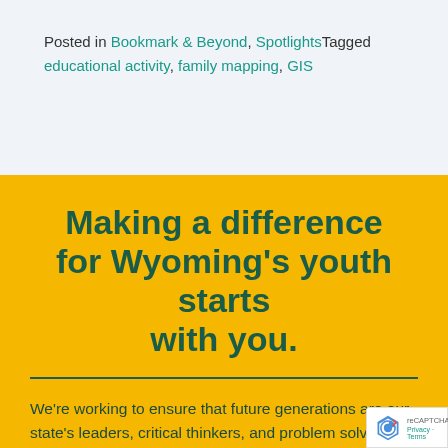Posted in Bookmark & Beyond, SpotlightsTagged educational activity, family mapping, GIS
Making a difference for Wyoming's youth starts with you.
We're working to ensure that future generations are our state's leaders, critical thinkers, and problem solvers